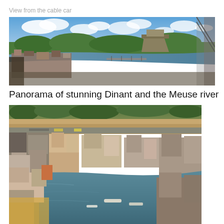View from the cable car
[Figure (photo): Wide panoramic photo of Dinant, Belgium, showing the Meuse river winding through the city with green hills, old buildings, a bridge, and blue sky with clouds. A cable car cable structure is visible on the right.]
Panorama of stunning Dinant and the Meuse river
[Figure (photo): Aerial photo looking down at the Meuse river curving through Dinant, Belgium, with buildings, streets, boats and waterfront area visible on both banks.]